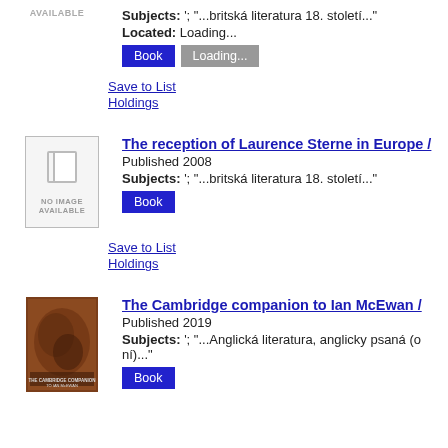AVAILABLE
Subjects: '; "...britská literatura 18. století..."
Located: Loading...
Book | Loading...
Save to List
Holdings
The reception of Laurence Sterne in Europe /
Published 2008
Subjects: '; "...britská literatura 18. století..."
Book
Save to List
Holdings
The Cambridge companion to Ian McEwan /
Published 2019
Subjects: '; "...Anglická literatura, anglicky psaná (o ní)..."
Book